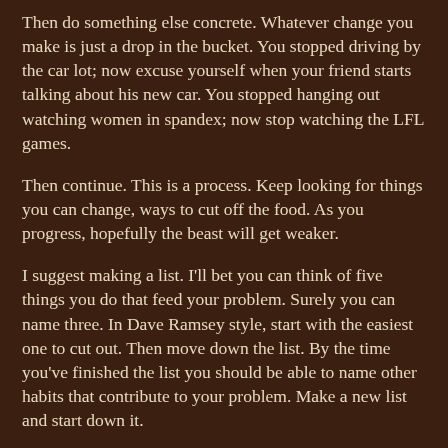Then do something else concrete. Whatever change you make is just a drop in the bucket. You stopped driving by the car lot; now excuse yourself when your friend starts talking about his new car. You stopped hanging out watching women in spandex; now stop watching the LFL games.
Then continue. This is a process. Keep looking for things you can change, ways to cut off the food. As you progress, hopefully the beast will get weaker.
I suggest making a list. I'll bet you can think of five things you do that feed your problem. Surely you can name three. In Dave Ramsey style, start with the easiest one to cut out. Then move down the list. By the time you've finished the list you should be able to name other habits that contribute to your problem. Make a new list and start down it.
Watch out
Back to the world, the flesh, and the devil: Most of the time I think the devil is the least of our problems — until you try to make some real changes. This is spiritual warfare. Expect to be attacked. Look for it. Plan on it. Be on your guard.